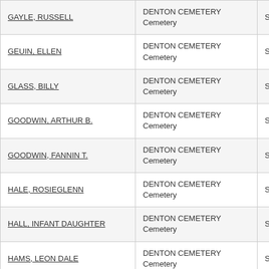| Name | Cemetery | County |
| --- | --- | --- |
| GAYLE, RUSSELL | DENTON CEMETERY
Cemetery | Stephens |
| GEUIN, ELLEN | DENTON CEMETERY
Cemetery | Stephens |
| GLASS, BILLY | DENTON CEMETERY
Cemetery | Stephens |
| GOODWIN, ARTHUR B. | DENTON CEMETERY
Cemetery | Stephens |
| GOODWIN, FANNIN T. | DENTON CEMETERY
Cemetery | Stephens |
| HALE, ROSIEGLENN | DENTON CEMETERY
Cemetery | Stephens |
| HALL, INFANT DAUGHTER | DENTON CEMETERY
Cemetery | Stephens |
| HAMS, LEON DALE | DENTON CEMETERY
Cemetery | Stephens |
| HARLESS, W.C. | DENTON CEMETERY
Cemetery | Stephens |